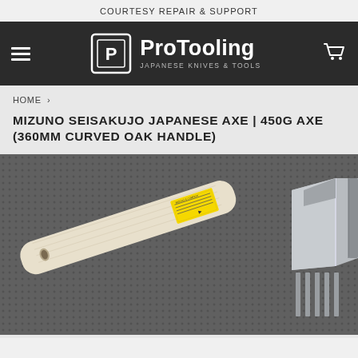COURTESY REPAIR & SUPPORT
[Figure (logo): ProTooling Japanese Knives & Tools logo with square icon on dark nav bar]
HOME >
MIZUNO SEISAKUJO JAPANESE AXE | 450G AXE (360MM CURVED OAK HANDLE)
[Figure (photo): Photo of a Japanese axe with pale wood curved oak handle and metal head with tines, on a dark textured background. Yellow label sticker visible near blade.]